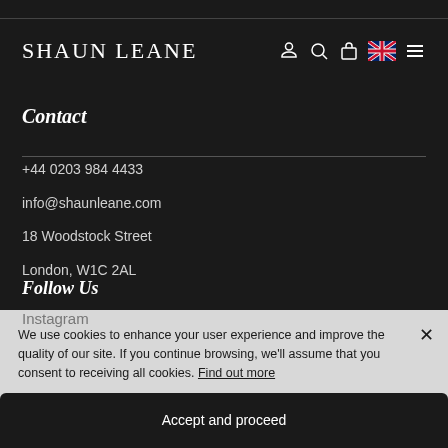SHAUN LEANE
Contact
+44 0203 984 4433
info@shaunleane.com
18 Woodstock Street
London, W1C 2AL
Follow Us
We use cookies to enhance your user experience and improve the quality of our site. If you continue browsing, we'll assume that you consent to receiving all cookies. Find out more
Accept and proceed